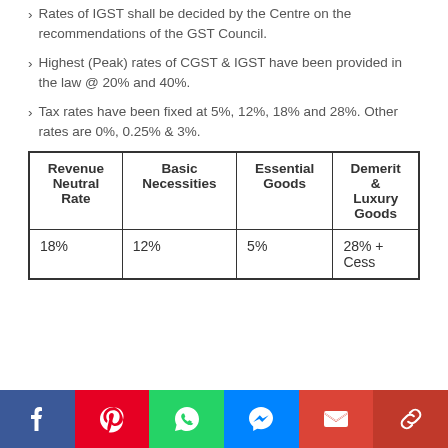Rates of IGST shall be decided by the Centre on the recommendations of the GST Council.
Highest (Peak) rates of CGST & IGST have been provided in the law @ 20% and 40%.
Tax rates have been fixed at 5%, 12%, 18% and 28%. Other rates are 0%, 0.25% & 3%.
| Revenue Neutral Rate | Basic Necessities | Essential Goods | Demerit & Luxury Goods |
| --- | --- | --- | --- |
| 18% | 12% | 5% | 28% + Cess |